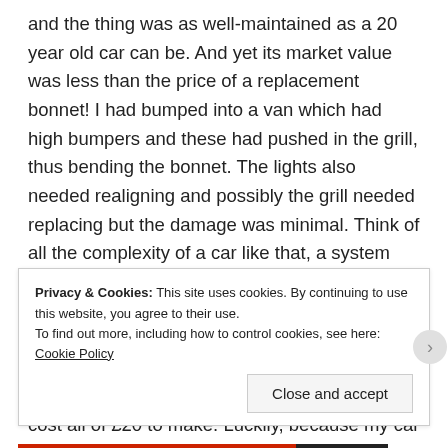and the thing was as well-maintained as a 20 year old car can be. And yet its market value was less than the price of a replacement bonnet! I had bumped into a van which had high bumpers and these had pushed in the grill, thus bending the bonnet. The lights also needed realigning and possibly the grill needed replacing but the damage was minimal. Think of all the complexity of a car like that, a system that tells you when it needs servicing, air-bags, h-plane adjustable seats, sun-roof, electric windows and a beautifully reliable and powerful engine. And yet its total value was less than a basic piece of pressed steel which probably cost all of £20 to make. Luckily, because my car
Privacy & Cookies: This site uses cookies. By continuing to use this website, you agree to their use. To find out more, including how to control cookies, see here: Cookie Policy